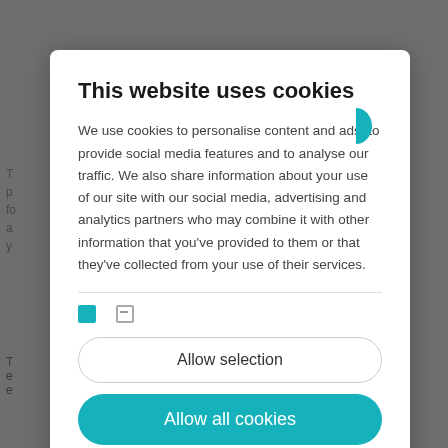This website uses cookies
We use cookies to personalise content and ads, to provide social media features and to analyse our traffic. We also share information about your use of our site with our social media, advertising and analytics partners who may combine it with other information that you’ve provided to them or that they’ve collected from your use of their services.
Allow selection
Allow all cookies